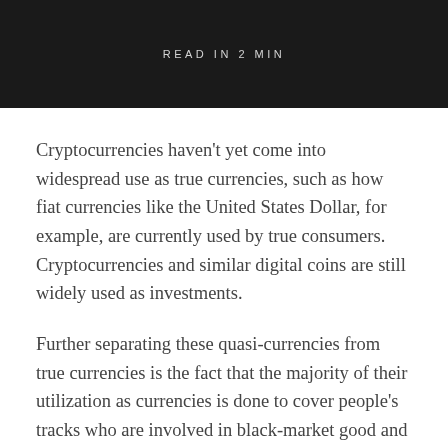READ IN 2 MIN
Cryptocurrencies haven't yet come into widespread use as true currencies, such as how fiat currencies like the United States Dollar, for example, are currently used by true consumers. Cryptocurrencies and similar digital coins are still widely used as investments.
Further separating these quasi-currencies from true currencies is the fact that the majority of their utilization as currencies is done to cover people's tracks who are involved in black-market good and service exchange.